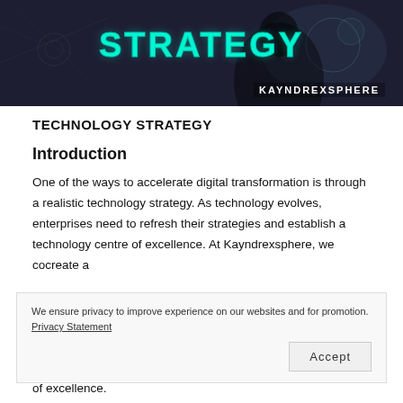[Figure (photo): Dark technology banner image with the word STRATEGY in large teal/cyan text at top, a person with holographic interface elements, and KAYNDREXSPHERE branding at bottom right]
TECHNOLOGY STRATEGY
Introduction
One of the ways to accelerate digital transformation is through a realistic technology strategy. As technology evolves, enterprises need to refresh their strategies and establish a technology centre of excellence. At Kayndrexsphere, we cocreate a
We ensure privacy to improve experience on our websites and for promotion. Privacy Statement
of excellence.